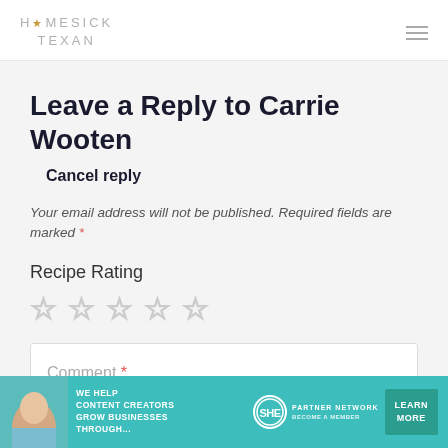HOMESICK TEXAN
Leave a Reply to Carrie Wooten
Cancel reply
Your email address will not be published. Required fields are marked *
Recipe Rating
[Figure (other): Five empty star rating icons for recipe rating]
Comment *
[Figure (other): SHE Partner Network advertisement banner with text: WE HELP CONTENT CREATORS GROW BUSINESSES THROUGH... LEARN MORE BECOME A MEMBER]